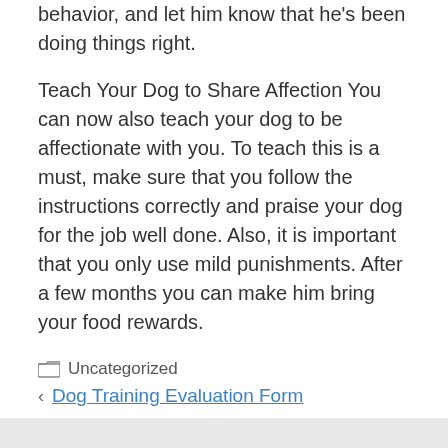behavior, and let him know that he's been doing things right.
Teach Your Dog to Share Affection You can now also teach your dog to be affectionate with you. To teach this is a must, make sure that you follow the instructions correctly and praise your dog for the job well done. Also, it is important that you only use mild punishments. After a few months you can make him bring your food rewards.
Uncategorized
Dog Training Evaluation Form
Dog Training Camp Charlotte Nc